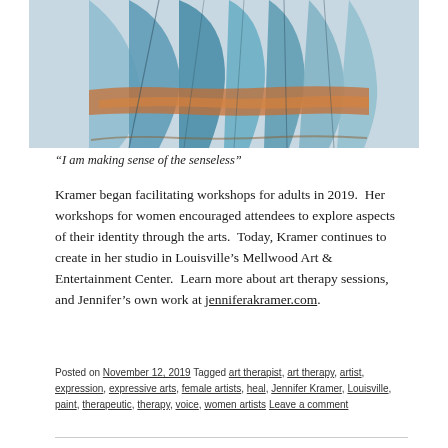[Figure (photo): Photo of colorful textile artwork hung on a wall, showing blue, teal, and orange patterned fabric fanned out like a garment or quilt.]
“I am making sense of the senseless”
Kramer began facilitating workshops for adults in 2019.  Her workshops for women encouraged attendees to explore aspects of their identity through the arts.  Today, Kramer continues to create in her studio in Louisville’s Mellwood Art & Entertainment Center.  Learn more about art therapy sessions, and Jennifer’s own work at jenniferakramer.com.
Posted on November 12, 2019 Tagged art therapist, art therapy, artist, expression, expressive arts, female artists, heal, Jennifer Kramer, Louisville, paint, therapeutic, therapy, voice, women artists Leave a comment